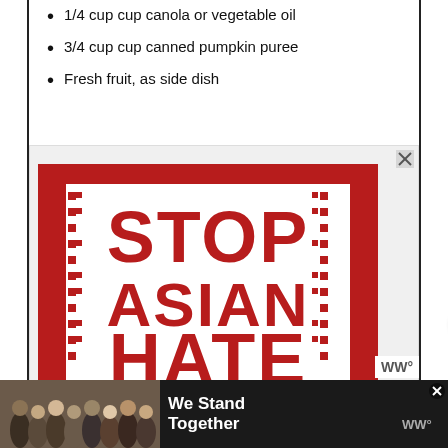2 eggs
1/4 cup cup canola or vegetable oil
3/4 cup cup canned pumpkin puree
Fresh fruit, as side dish
[Figure (infographic): Stop Asian Hate advertisement — bold red text 'STOP ASIAN HATE' on white background with decorative red border frame]
[Figure (infographic): We Stand Together advertisement — group of people viewed from behind with arms around each other, white text on dark background]